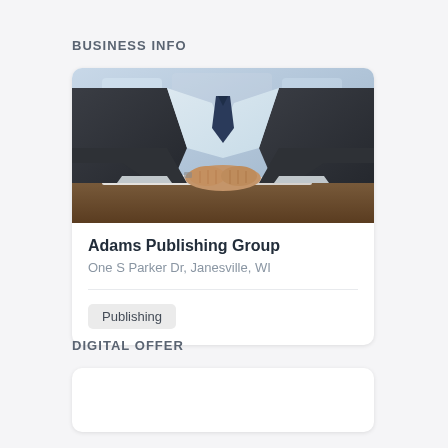BUSINESS INFO
[Figure (photo): Photo of a businessman in a dark suit with hands clasped on a desk, viewed from chest down, blurred office background]
Adams Publishing Group
One S Parker Dr, Janesville, WI
Publishing
DIGITAL OFFER